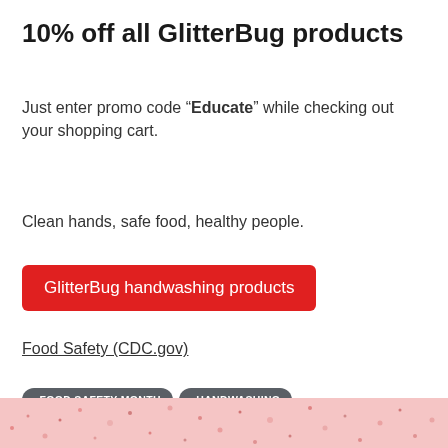10% off all GlitterBug products
Just enter promo code “Educate” while checking out your shopping cart.
Clean hands, safe food, healthy people.
GlitterBug handwashing products
Food Safety (CDC.gov)
FOOD SAFETY MONTH
HANDWASHING
HANDWASHING SAVES LIVES
[Figure (photo): Pink/red speckled microscope image of bacteria at bottom of page]